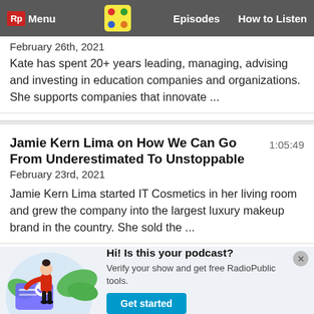Rp Menu | [podcast logo] | Episodes | How to Listen
February 26th, 2021
Kate has spent 20+ years leading, managing, advising and investing in education companies and organizations. She supports companies that innovate ...
Jamie Kern Lima on How We Can Go From Underestimated To Unstoppable
1:05:49
February 23rd, 2021
Jamie Kern Lima started IT Cosmetics in her living room and grew the company into the largest luxury makeup brand in the country. She sold the ...
[Figure (illustration): Promotional banner with an illustration of a woman holding a card with a checkmark, plants in the background]
Hi! Is this your podcast? Verify your show and get free RadioPublic tools.
Get started